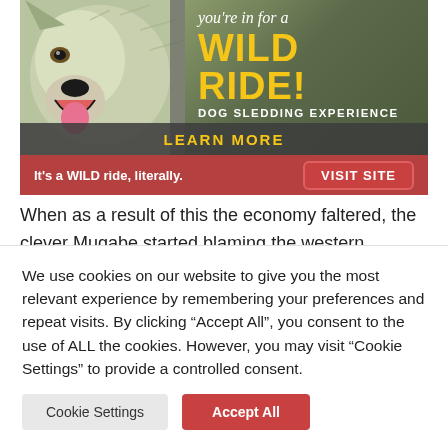[Figure (illustration): Advertisement banner for a dog sledding experience featuring a husky dog, yellow bold text 'WILD RIDE!', italic text 'you're in for a', 'DOG SLEDDING EXPERIENCE', 'LEARN MORE' button, and a red bottom bar with 'It's a WILD ride, literally.' and 'VISIT SITE' button]
When as a result of this the economy faltered, the clever Mugabe started blaming the western countries about sanctions which had only been imposed on a targeted few individuals, including...
We use cookies on our website to give you the most relevant experience by remembering your preferences and repeat visits. By clicking "Accept All", you consent to the use of ALL the cookies. However, you may visit "Cookie Settings" to provide a controlled consent.
Cookie Settings | Accept All